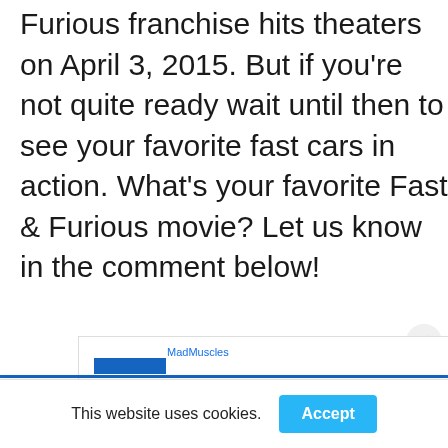Furious franchise hits theaters on April 3, 2015. But if you're not quite ready wait until then to see your favorite fast cars in action. What's your favorite Fast & Furious movie? Let us know in the comment below!
[Figure (screenshot): Partial comment widget with MadMuscles label and blue bar, with a close (×) button]
This website uses cookies.